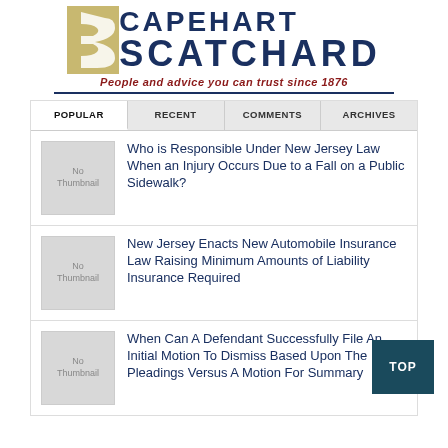[Figure (logo): Capehart Scatchard law firm logo with stylized S icon, firm name in navy blue, tagline in dark red italic: People and advice you can trust since 1876]
Who is Responsible Under New Jersey Law When an Injury Occurs Due to a Fall on a Public Sidewalk?
New Jersey Enacts New Automobile Insurance Law Raising Minimum Amounts of Liability Insurance Required
When Can A Defendant Successfully File An Initial Motion To Dismiss Based Upon The Pleadings Versus A Motion For Summary